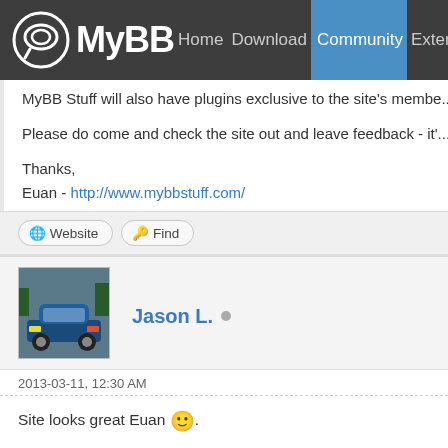MyBB Home Download Community Extend Do...
MyBB Stuff will also have plugins exclusive to the site's membe...
Please do come and check the site out and leave feedback - it'...
Thanks,
Euan - http://www.mybbstuff.com/
Website   Find
Jason L.
2013-03-11, 12:30 AM
Site looks great Euan 😊.
Would like to see this site thrive.